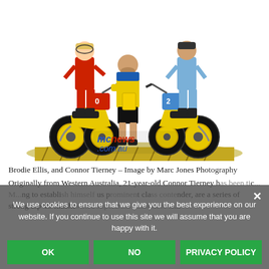[Figure (photo): Three people (two riders and a team manager) standing between two yellow Suzuki motocross bikes on a display platform against a white background. Left rider wears red/black gear with number 10, center person wears yellow/blue polo shirt, right rider wears blue/grey gear. mcnews.com.au watermark visible at bottom of image.]
Brodie Ellis, and Connor Tierney – Image by Marc Jones Photography
Originally from Western Australia, 21-year-old Connor Tierney has been tic... M... ng to establish himself as a prominent class contender, are a series of strong top-10 finishes on a supercross account to la...
We use cookies to ensure that we give you the best experience on our website. If you continue to use this site we will assume that you are happy with it.